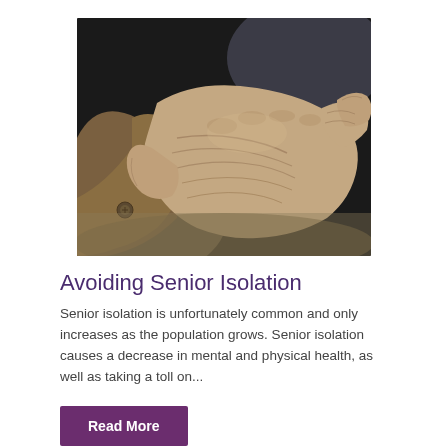[Figure (photo): Close-up photograph of elderly hands clasped together, wearing a brown jacket with a visible button on the sleeve. Dark blurred background.]
Avoiding Senior Isolation
Senior isolation is unfortunately common and only increases as the population grows. Senior isolation causes a decrease in mental and physical health, as well as taking a toll on...
Read More